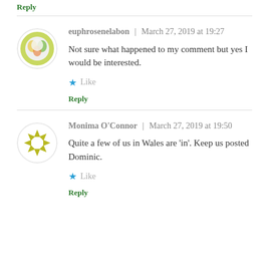Reply
euphrosenelabon  |  March 27, 2019 at 19:27
Not sure what happened to my comment but yes I would be interested.
Like
Reply
Monima O'Connor  |  March 27, 2019 at 19:50
Quite a few of us in Wales are 'in'. Keep us posted Dominic.
Like
Reply